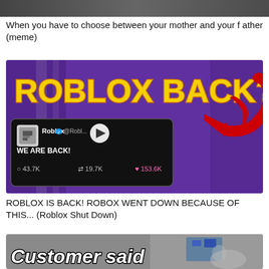[Figure (screenshot): Cropped top image strip, dark/blurred]
When you have to choose between your mother and your father (meme)
[Figure (screenshot): YouTube thumbnail: 'ROBLOX BACK?' in yellow text on purple background, with a tweet from @Roblox saying 'WE ARE BACK!' with stats 43.7K likes, 19.7K retweets, 153.6K hearts, and a red arrow pointing to the tweet. Play button visible.]
ROBLOX IS BACK! ROBOX WENT DOWN BECAUSE OF THIS... (Roblox Shut Down)
[Figure (screenshot): YouTube thumbnail bottom portion showing 'Customer said' text in white bold italic on dark background with a cat visible on the right]